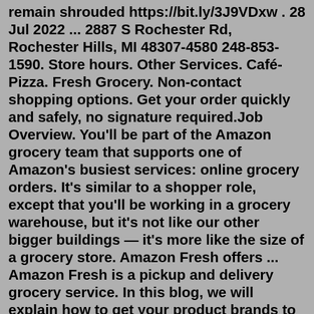remain shrouded https://bit.ly/3J9VDxw . 28 Jul 2022 ... 2887 S Rochester Rd, Rochester Hills, MI 48307-4580 248-853-1590. Store hours. Other Services. Café-Pizza. Fresh Grocery. Non-contact shopping options. Get your order quickly and safely, no signature required.Job Overview. You'll be part of the Amazon grocery team that supports one of Amazon's busiest services: online grocery orders. It's similar to a shopper role, except that you'll be working in a grocery warehouse, but it's not like our other bigger buildings — it's more like the size of a grocery store. Amazon Fresh offers ... Amazon Fresh is a pickup and delivery grocery service. In this blog, we will explain how to get your product brands to grow sales on Amazon. Amazon has also announced the opening of their first Amazon Fresh grocery store.3 Located in California's Woodland Hills, this grocery store is open to...Oak Hill Country Club offers members one of the finest experiences of any country club in the United States. In keeping with the rich traditions of a private club, membership is by invitation only and available